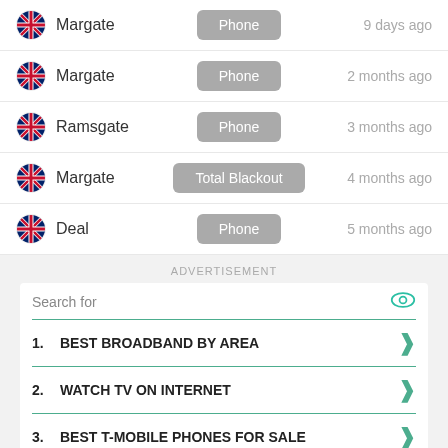Margate | Phone | 9 days ago
Margate | Phone | 2 months ago
Ramsgate | Phone | 3 months ago
Margate | Total Blackout | 4 months ago
Deal | Phone | 5 months ago
ADVERTISEMENT
Search for
1. BEST BROADBAND BY AREA
2. WATCH TV ON INTERNET
3. BEST T-MOBILE PHONES FOR SALE
4. T-MOBILE IPHONE DEALS
5. BEST DEALS ON SAMSUNG